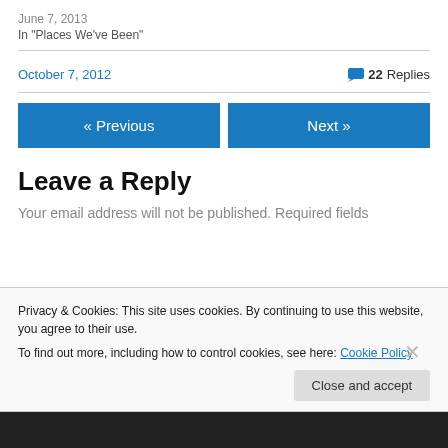June 7, 2013
In "Places We've Been"
October 7, 2012
22 Replies
« Previous
Next »
Leave a Reply
Your email address will not be published. Required fields
Privacy & Cookies: This site uses cookies. By continuing to use this website, you agree to their use.
To find out more, including how to control cookies, see here: Cookie Policy
Close and accept